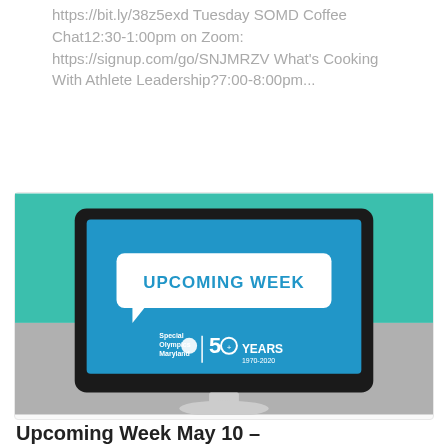https://bit.ly/38z5exd Tuesday SOMD Coffee Chat12:30-1:00pm on Zoom: https://signup.com/go/SNJMRZV What's Cooking With Athlete Leadership?7:00-8:00pm...
[Figure (illustration): Illustration of a desktop computer monitor on a grey and teal background. The monitor screen is blue and displays 'UPCOMING WEEK' in a speech bubble graphic. Below that is the Special Olympics Maryland logo with '50 YEARS 1970-2020' text.]
Upcoming Week May 10 –